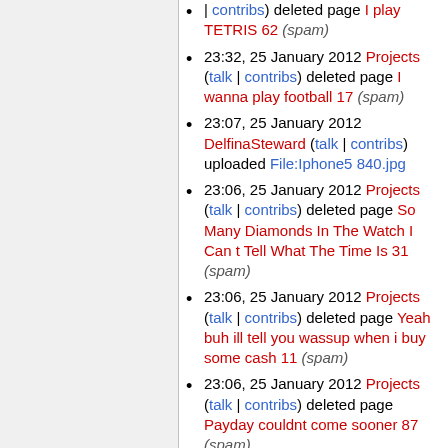| contribs) deleted page I play TETRIS 62 (spam)
23:32, 25 January 2012 Projects (talk | contribs) deleted page I wanna play football 17 (spam)
23:07, 25 January 2012 DelfinaSteward (talk | contribs) uploaded File:Iphone5 840.jpg
23:06, 25 January 2012 Projects (talk | contribs) deleted page So Many Diamonds In The Watch I Can t Tell What The Time Is 31 (spam)
23:06, 25 January 2012 Projects (talk | contribs) deleted page Yeah buh ill tell you wassup when i buy some cash 11 (spam)
23:06, 25 January 2012 Projects (talk | contribs) deleted page Payday couldnt come sooner 87 (spam)
23:05, 25 January 2012 Projects (talk